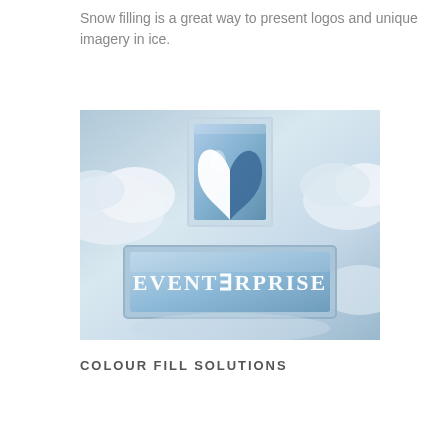Snow filling is a great way to present logos and unique imagery in ice.
[Figure (photo): A photo of an ice sculpture displaying the Eventerprise logo — a rectangular ice block with a blue leaf/bird motif on top, and a rectangular ice plaque reading 'EVENTERPRISE' below, set against a misty snowy background.]
COLOUR FILL SOLUTIONS